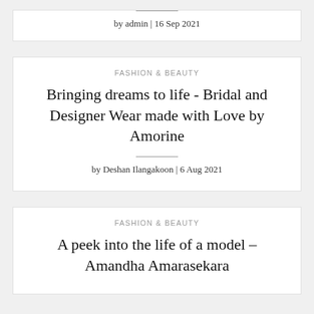by admin | 16 Sep 2021
FASHION & BEAUTY
Bringing dreams to life - Bridal and Designer Wear made with Love by Amorine
by Deshan Ilangakoon | 6 Aug 2021
FASHION & BEAUTY
A peek into the life of a model – Amandha Amarasekara